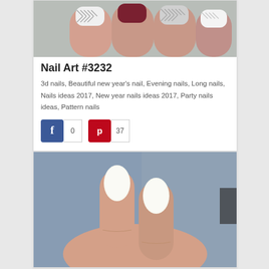[Figure (photo): Close-up photo of fingernails with nail art — patterned grey/white herringbone and dark burgundy designs]
Nail Art #3232
3d nails, Beautiful new year's nail, Evening nails, Long nails, Nails ideas 2017, New year nails ideas 2017, Party nails ideas, Pattern nails
[Figure (infographic): Social share buttons: Facebook button with count 0, Pinterest button with count 37]
[Figure (photo): Close-up photo of hand with plain white/cream oval nails against a blurred blue background]